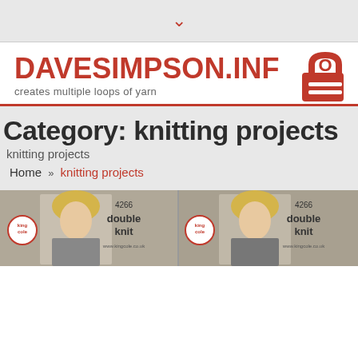▾
DAVESIMPSON.INFO
creates multiple loops of yarn
Category: knitting projects
knitting projects
Home » knitting projects
[Figure (photo): Knitting pattern packaging showing a blonde woman, King Cole logo, number 4266, and text 'double knit', repeated side by side]